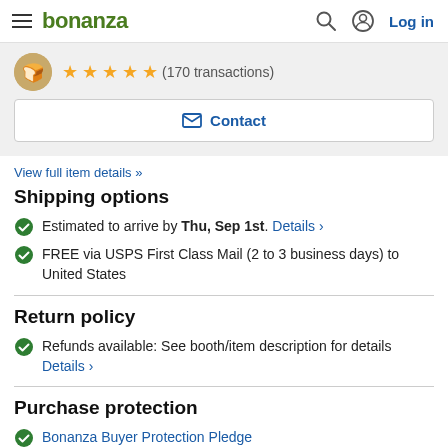bonanza — Log in
(170 transactions)
Contact
View full item details »
Shipping options
Estimated to arrive by Thu, Sep 1st. Details ›
FREE via USPS First Class Mail (2 to 3 business days) to United States
Return policy
Refunds available: See booth/item description for details Details ›
Purchase protection
Bonanza Buyer Protection Pledge